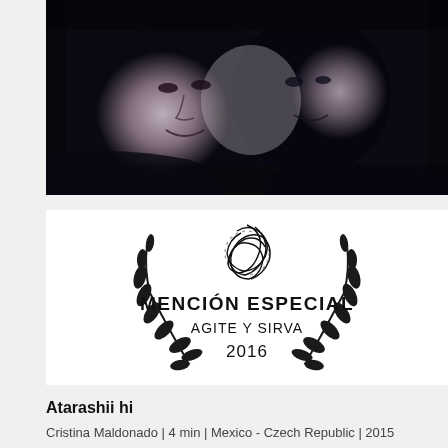[Figure (photo): Black and white photo of two women's faces close together, looking at the camera, on a dark background]
[Figure (logo): Award badge with laurel wreaths and a tangled scribble design above text reading: MENCIÓN ESPECIAL / AGITE Y SIRVA / 2016]
Atarashii hi
Cristina Maldonado | 4 min | Mexico - Czech Republic | 2015
Hand spell. Physical intervention of: "El Santo vs. las: Mujeres